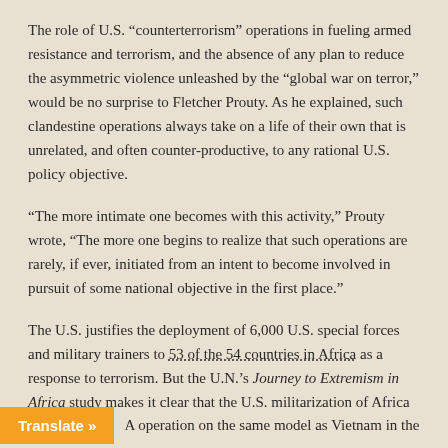The role of U.S. “counterterrorism” operations in fueling armed resistance and terrorism, and the absence of any plan to reduce the asymmetric violence unleashed by the “global war on terror,” would be no surprise to Fletcher Prouty. As he explained, such clandestine operations always take on a life of their own that is unrelated, and often counter-productive, to any rational U.S. policy objective.
“The more intimate one becomes with this activity,” Prouty wrote, “The more one begins to realize that such operations are rarely, if ever, initiated from an intent to become involved in pursuit of some national objective in the first place.”
The U.S. justifies the deployment of 6,000 U.S. special forces and military trainers to 53 of the 54 countries in Africa as a response to terrorism. But the U.N.’s Journey to Extremism in Africa study makes it clear that the U.S. militarization of Africa is in fact the “tipping point” that is driving Africans across the continent to join armed resistance groups in the first place.
A operation on the same model as Vietnam in the